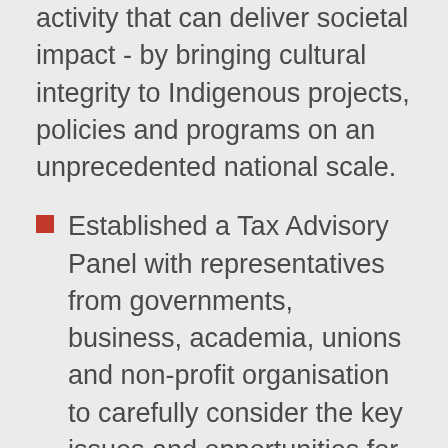activity that can deliver societal impact - by bringing cultural integrity to Indigenous projects, policies and programs on an unprecedented national scale.
Established a Tax Advisory Panel with representatives from governments, business, academia, unions and non-profit organisation to carefully consider the key issues and opportunities for tax reform.
A Strategic Alliance with Microsoft Corp. formed to help companies